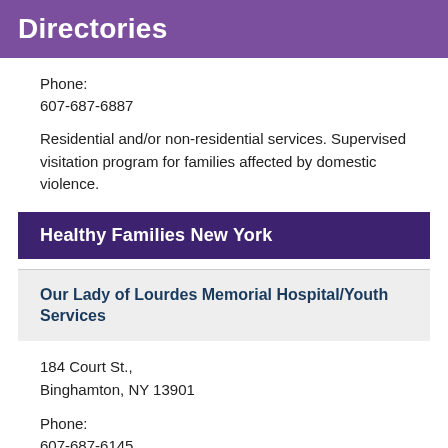Directories
Phone:
607-687-6887
Residential and/or non-residential services. Supervised visitation program for families affected by domestic violence.
Healthy Families New York
Our Lady of Lourdes Memorial Hospital/Youth Services
184 Court St.,
Binghamton, NY 13901
Phone:
607-687-6145